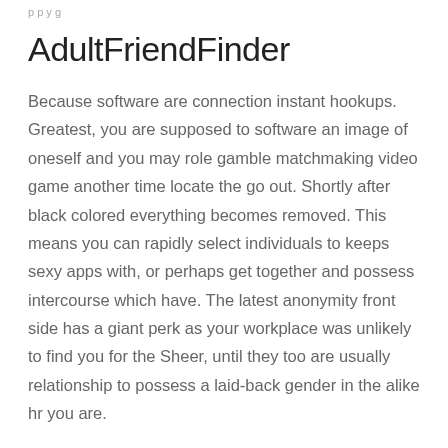p p y g
AdultFriendFinder
Because software are connection instant hookups. Greatest, you are supposed to software an image of oneself and you may role gamble matchmaking video game another time locate the go out. Shortly after black colored everything becomes removed. This means you can rapidly select individuals to keeps sexy apps with, or perhaps get together and possess intercourse which have. The latest anonymity front side has a giant perk as your workplace was unlikely to find you for the Sheer, until they too are usually relationship to possess a laid-back gender in the alike hr you are.